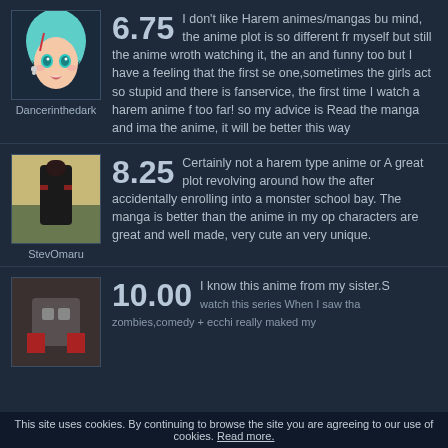[Figure (illustration): Anime-style avatar of user Dancerinthedark, teal-haired female character]
Dancerinthedark
6.75 I don't like Harem animes/mangas but mind, the anime plot is so different from myself but still the anime wroth watching it, the an and funny too but I have a feeling that the first se one,sometimes the girls act so stupid and there is fanservice, the first time I watch a harem anime f too far! so my advice is Read the manga and ima the anime, it will be better this way
[Figure (photo): Dark avatar image of user StevOmaru showing an anime character in black clothing outdoors]
StevOmaru
8.25 Certainly not a harem type anime or A great plot revolving around how the after accidentally enrolling into a monster school bay. The manga is better than the anime in my op characters are great and well made, very cute an very unique.
[Figure (photo): Partially visible avatar image for third reviewer]
10.00 I know this anime from my sister.S watch this series When I saw tha zombies,comedy + ecchi really maked my
This site uses cookies. By continuing to browse the site you are agreeing to our use of cookies. Read more.